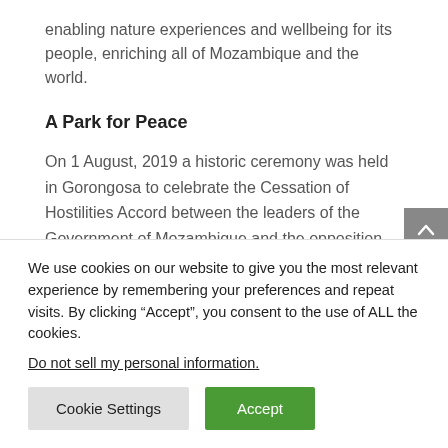enabling nature experiences and wellbeing for its people, enriching all of Mozambique and the world.
A Park for Peace
On 1 August, 2019 a historic ceremony was held in Gorongosa to celebrate the Cessation of Hostilities Accord between the leaders of the Government of Mozambique and the opposition Renamo Party. The accord established Gorongosa National Park (GNP) as a
We use cookies on our website to give you the most relevant experience by remembering your preferences and repeat visits. By clicking “Accept”, you consent to the use of ALL the cookies.
Do not sell my personal information.